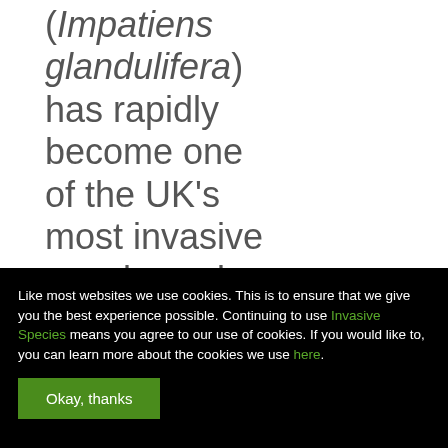(Impatiens glandulifera) has rapidly become one of the UK's most invasive weed species, colonising river banks, waste ground
Like most websites we use cookies. This is to ensure that we give you the best experience possible. Continuing to use Invasive Species means you agree to our use of cookies. If you would like to, you can learn more about the cookies we use here.